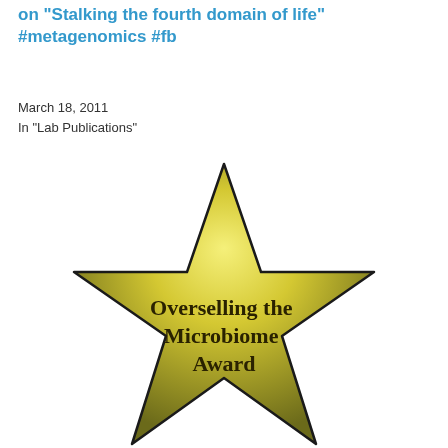on "Stalking the fourth domain of life" #metagenomics #fb
March 18, 2011
In "Lab Publications"
[Figure (illustration): A gold/yellow five-pointed star with gradient shading (bright yellow at top, darker olive/brown at bottom) and a dark outline, containing the text 'Overselling the Microbiome Award' in dark bold serif font. The star has a subtle reflection beneath it.]